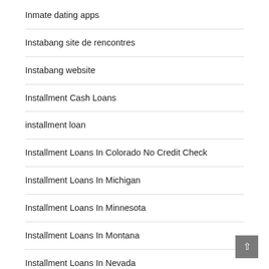Inmate dating apps
Instabang site de rencontres
Instabang website
Installment Cash Loans
installment loan
Installment Loans In Colorado No Credit Check
Installment Loans In Michigan
Installment Loans In Minnesota
Installment Loans In Montana
Installment Loans In Nevada
Installment Loans In New Jersey